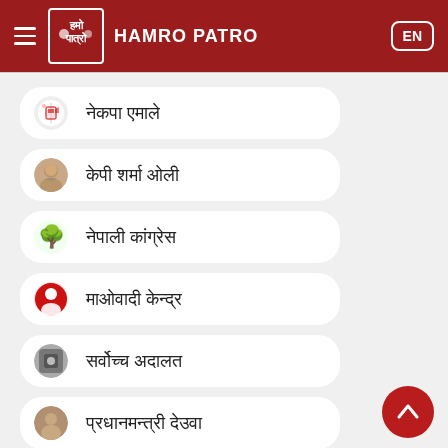HAMRO PATRO
नेकपा एमाले
केपी शर्मा ओली
नेपाली कांग्रेस
माओवादी केन्द्र
सर्वोच्च अदालत
प्रधानमन्त्री देउवा
चोलेन्द्र शमशेर राणा
प्राकृतिक प्रकोप